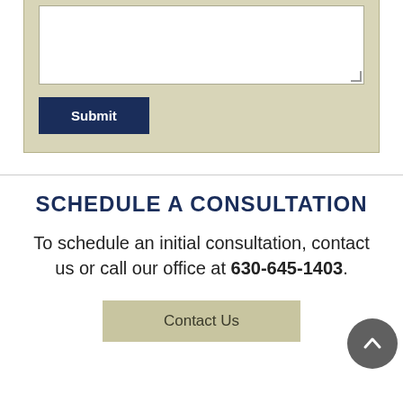[Figure (screenshot): Form textarea input box with white background and light border, partially visible at top of page]
[Figure (screenshot): Dark navy blue Submit button]
SCHEDULE A CONSULTATION
To schedule an initial consultation, contact us or call our office at 630-645-1403.
[Figure (screenshot): Tan/khaki colored Contact Us button]
[Figure (screenshot): Gray circular back-to-top arrow button in bottom right corner]